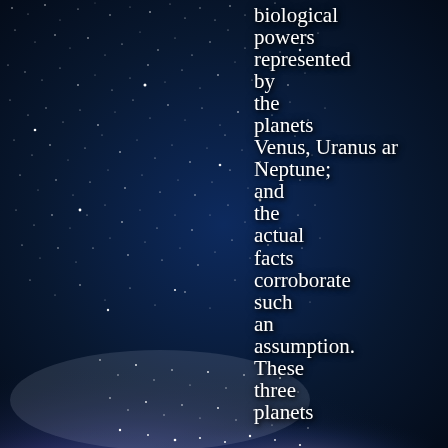[Figure (photo): Night sky photograph showing the Milky Way galaxy with dense star field and blue/purple nebula glow along the bottom portion of the image. Deep dark blue sky fills most of the image with thousands of white stars visible.]
biological powers represented by the planets Venus, Uranus and Neptune; and the actual facts corroborate such an assumption. These three planets